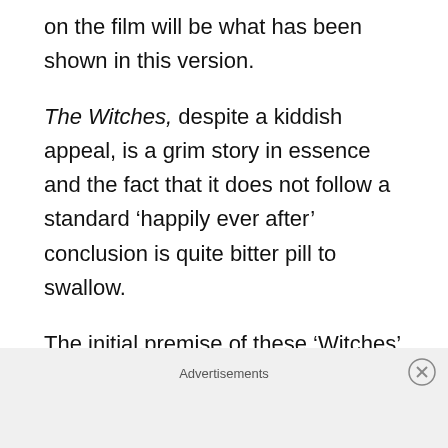on the film will be what has been shown in this version.
The Witches, despite a kiddish appeal, is a grim story in essence and the fact that it does not follow a standard ‘happily ever after’ conclusion is quite bitter pill to swallow.
The initial premise of these ‘Witches’ being manipulative, evil and demonic could be deemed as misogynistic and it is understandable why.
Advertisements